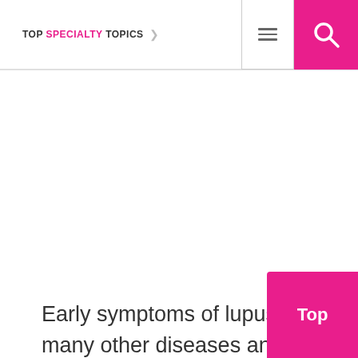TOP SPECIALTY TOPICS
Early symptoms of lupus mimic many other diseases and having these doesn't mean a person is suffering from lupus. Some common symptoms includ…